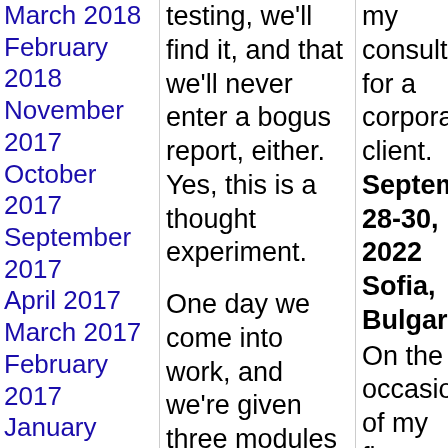March 2018
February 2018
November 2017
October 2017
September 2017
April 2017
March 2017
February 2017
January 2017
testing, we'll find it, and that we'll never enter a bogus report, either. Yes, this is a thought experiment.

One day we come into work, and we're given three modules to test.

The morning session is taken up with Module A, from Development Team A. These people are amazing, hyper-competent. They use test-first programming, and test-driven design. They work closely with
my consulting for a corporate client.

September 28-30, 2022 Sofia, Bulgaria

On the occasion of my first-ever visit to Bulgaria, I'll be